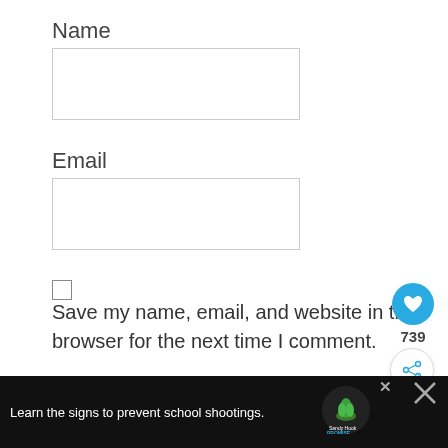Name
[Figure (screenshot): Empty text input field for Name]
Email
[Figure (screenshot): Empty text input field for Email]
[Figure (screenshot): Unchecked checkbox]
Save my name, email, and website in this browser for the next time I comment.
[Figure (screenshot): Blue circular heart/like button with count 739 and share button]
[Figure (screenshot): POST COMMENT blue button]
[Figure (screenshot): WHAT'S NEXT arrow Botswana Guide widget]
[Figure (screenshot): Ad banner: Learn the signs to prevent school shootings. Sandy Hook Promise logo]